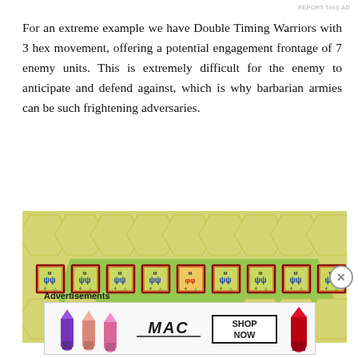REPORT THIS AD
For an extreme example we have Double Timing Warriors with 3 hex movement, offering a potential engagement frontage of 7 enemy units. This is extremely difficult for the enemy to anticipate and defend against, which is why barbarian armies can be such frightening adversaries.
[Figure (screenshot): Game screenshot showing a hex-grid board game (Commands & Colors) with 9 warrior unit tokens arranged in a row on a yellow-green hexagonal tile map. The units have red borders and show various barbarian warrior icons.]
Advertisements
[Figure (photo): MAC cosmetics advertisement showing colorful lipsticks with 'MAC' logo and 'SHOP NOW' button.]